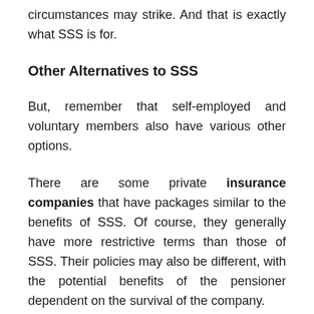circumstances may strike. And that is exactly what SSS is for.
Other Alternatives to SSS
But, remember that self-employed and voluntary members also have various other options.
There are some private insurance companies that have packages similar to the benefits of SSS. Of course, they generally have more restrictive terms than those of SSS. Their policies may also be different, with the potential benefits of the pensioner dependent on the survival of the company.
But they are still an option.
In the end, it will be up to you to carefully weigh the pros and cons of each. Regarding the matter of voluntary SSS